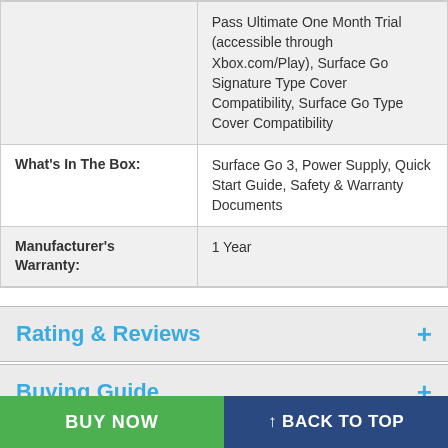| Attribute | Value |
| --- | --- |
|  | Pass Ultimate One Month Trial (accessible through Xbox.com/Play), Surface Go Signature Type Cover Compatibility, Surface Go Type Cover Compatibility |
| What's In The Box: | Surface Go 3, Power Supply, Quick Start Guide, Safety & Warranty Documents |
| Manufacturer's Warranty: | 1 Year |
Rating & Reviews
Buying Guide
*Terms and Conditions apply. See https://tgg.squaretradein.com.au/terms